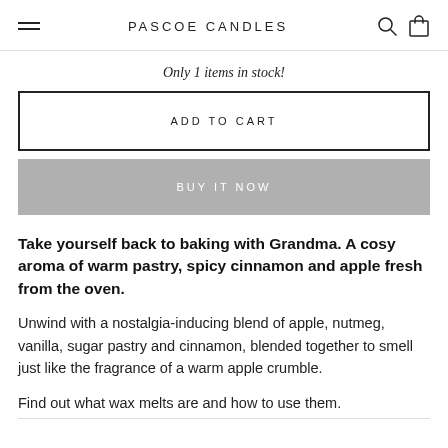PASCOE CANDLES
Only 1 items in stock!
ADD TO CART
BUY IT NOW
Take yourself back to baking with Grandma. A cosy aroma of warm pastry, spicy cinnamon and apple fresh from the oven.
Unwind with a nostalgia-inducing blend of apple, nutmeg, vanilla, sugar pastry and cinnamon, blended together to smell just like the fragrance of a warm apple crumble.
Find out what wax melts are and how to use them.